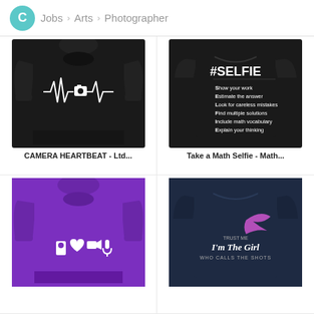C > Jobs > Arts > Photographer
[Figure (photo): Black hoodie with camera heartbeat EKG line graphic]
CAMERA HEARTBEAT - Ltd...
[Figure (photo): Black t-shirt with #SELFIE math acronym graphic on back]
Take a Math Selfie - Math...
[Figure (photo): Purple hoodie with love photography camera microphone graphic]
[Figure (photo): Navy blue t-shirt with I'm The Girl Who Calls The Shots graphic]